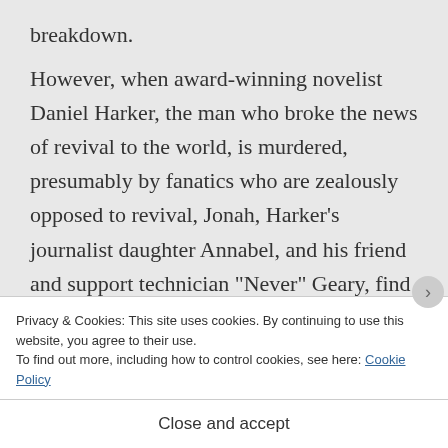breakdown.
However, when award-winning novelist Daniel Harker, the man who broke the news of revival to the world, is murdered, presumably by fanatics who are zealously opposed to revival, Jonah, Harker’s journalist daughter Annabel, and his friend and support technician “Never” Geary, find themselves
Privacy & Cookies: This site uses cookies. By continuing to use this website, you agree to their use.
To find out more, including how to control cookies, see here: Cookie Policy
Close and accept